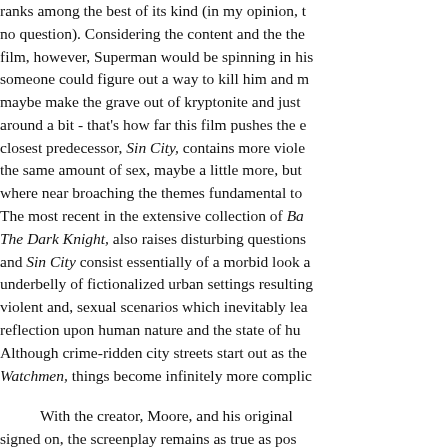ranks among the best of its kind (in my opinion, t... no question). Considering the content and the the... film, however, Superman would be spinning in his... someone could figure out a way to kill him and m... maybe make the grave out of kryptonite and just ... around a bit - that's how far this film pushes the e... closest predecessor, Sin City, contains more viol... the same amount of sex, maybe a little more, but... where near broaching the themes fundamental to... The most recent in the extensive collection of Ba... The Dark Knight, also raises disturbing questions... and Sin City consist essentially of a morbid look a... underbelly of fictionalized urban settings resulting... violent and, sexual scenarios which inevitably lea... reflection upon human nature and the state of hu... Although crime-ridden city streets start out as the... Watchmen, things become infinitely more complic...
With the creator, Moore, and his original... signed on, the screenplay remains as true as pos... original comics and graphic novels. The plot surro... retired superheroes following the unlikely murder... crewmember. Although super heroes have fought... the 40s, the Cold War and nuclear proliferation p...